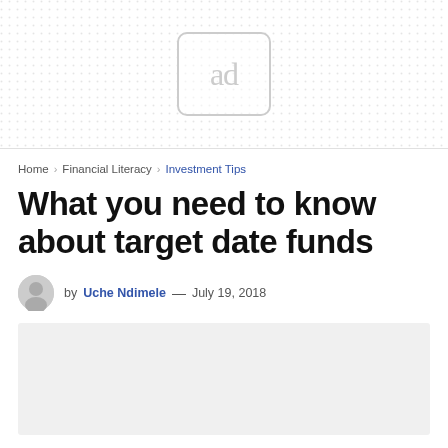[Figure (other): Advertisement banner with dot grid pattern background and an 'ad' label box in the center]
Home › Financial Literacy › Investment Tips
What you need to know about target date funds
by Uche Ndimele — July 19, 2018
[Figure (other): Gray placeholder image for article content]